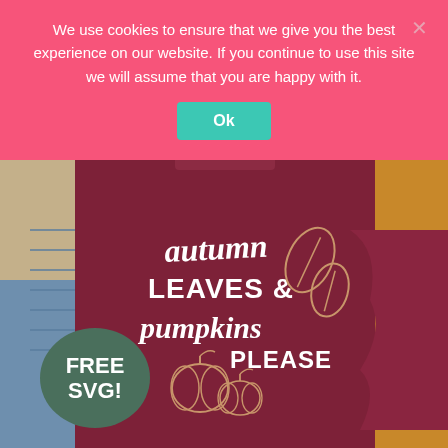We use cookies to ensure that we give you the best experience on our website. If you continue to use this site we will assume that you are happy with it.
Ok
[Figure (photo): A maroon/burgundy sweatshirt with white and rose-gold text reading 'autumn LEAVES & pumpkins PLEASE' with decorative leaf and pumpkin illustrations, surrounded by blue jeans and a mustard yellow sweater]
FREE SVG!